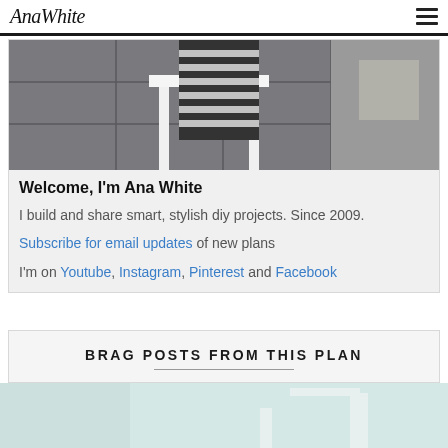AnaWhite
[Figure (photo): Photo of Ana White standing next to a white bench on a stone patio, wearing a black and white striped outfit]
Welcome, I'm Ana White
I build and share smart, stylish diy projects. Since 2009.
Subscribe for email updates of new plans
I'm on Youtube, Instagram, Pinterest and Facebook
BRAG POSTS FROM THIS PLAN
[Figure (photo): Partial photo at bottom of page showing a light blue/teal background scene]